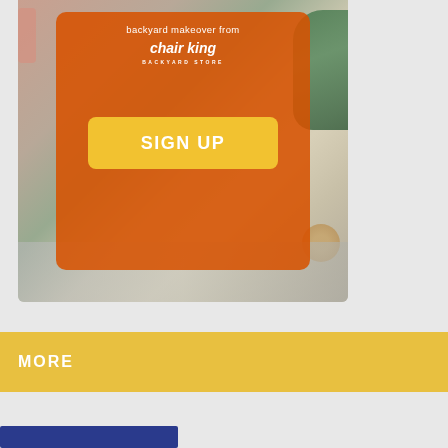[Figure (photo): Advertisement banner for Chair King Backyard Store showing outdoor furniture on a patio with an orange overlay, logo, and Sign Up button]
backyard makeover from
[Figure (logo): Chair King Backyard Store logo in white on orange background]
SIGN UP
MORE